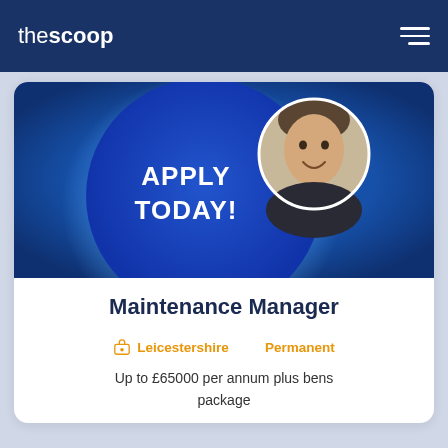thescoop
[Figure (illustration): Blue glowing circle with 'APPLY TODAY!' text in white bold font, with a circular headshot photo of a man in a dark top overlapping the top right of the circle, on a blue gradient background.]
Maintenance Manager
Leicestershire   Permanent
Up to £65000 per annum plus bens package